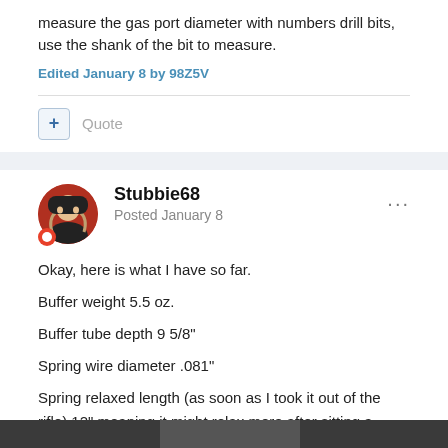measure the gas port diameter with numbers drill bits, use the shank of the bit to measure.
Edited January 8 by 98Z5V
Quote
Stubbie68
Posted January 8
Okay, here is what I have so far.
Buffer weight 5.5 oz.
Buffer tube depth 9 5/8"
Spring wire diameter .081"
Spring relaxed length (as soon as I took it out of the rifle) 12" meaning it might relax more after sitting a while. Don't know.
[Figure (photo): Bottom portion of an image, partially visible at the bottom of the page]